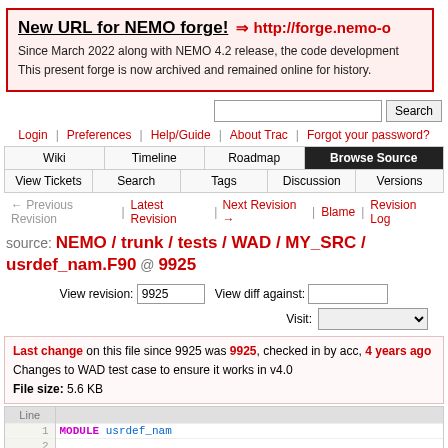New URL for NEMO forge! ⇒ http://forge.nemo-ocean.eu Since March 2022 along with NEMO 4.2 release, the code development... This present forge is now archived and remained online for history.
Login | Preferences | Help/Guide | About Trac | Forgot your password?
Wiki | Timeline | Roadmap | Browse Source | View Tickets | Search | Tags | Discussion | Versions
← Previous Revision | Latest Revision | Next Revision → | Blame | Revision Log
source: NEMO / trunk / tests / WAD / MY_SRC / usrdef_nam.F90 @ 9925
View revision: 9925   View diff against:   Visit:
Last change on this file since 9925 was 9925, checked in by acc, 4 years ago
Changes to WAD test case to ensure it works in v4.0
File size: 5.6 KB
| Line |  |
| --- | --- |
| 1 | MODULE usrdef_nam |
| 2 |  |